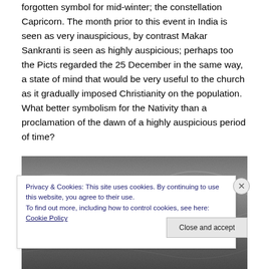forgotten symbol for mid-winter; the constellation Capricorn. The month prior to this event in India is seen as very inauspicious, by contrast Makar Sankranti is seen as highly auspicious; perhaps too the Picts regarded the 25 December in the same way, a state of mind that would be very useful to the church as it gradually imposed Christianity on the population. What better symbolism for the Nativity than a proclamation of the dawn of a highly auspicious period of time?
[Figure (photo): Grayscale photograph partially visible behind a cookie consent banner]
Privacy & Cookies: This site uses cookies. By continuing to use this website, you agree to their use.
To find out more, including how to control cookies, see here: Cookie Policy
Close and accept